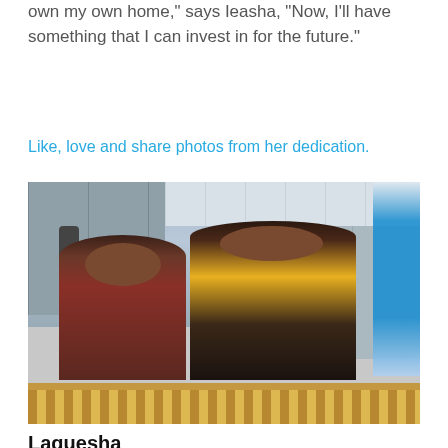own my own home," says Ieasha, "Now, I'll have something that I can invest in for the future."
Like, love and share photos from her dedication.
[Figure (photo): Two women smiling and standing on a wooden porch railing in front of a house siding exterior, with a blue and white Habitat for Humanity banner visible on the right side.]
Laquesha